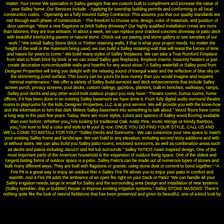matter. Your Home We specialize in Salley garages that are custom built to compliment and increase the value of your Salley home. Our Services include: - Applying for township building permits and conforming to all local construction codes. - Operating as a fully insured Salley Contractor. This assures you that our quality standards are met through each phase of construction. - The freedom to choose size, design, color of materials, and position of door openings. "Want a new flagstone or brick Salley driveway? Our highly qualified installation crews are more than laborers, they are true artisans. In about a week, we can replace your cracked concrete driveway or patio deck with beautiful interlocking pavers or natural stone. Check out our paving and stone gallery to see samples of our work." "We install Salley Stone Brick or Timber retaining walls, if that is what your project needs. No matter the height of the wall or the materials being used, we can build a Salley retaining wall that will resist the forces of time and nature for years to come." We build many styles of Salley fireplaces. We can take a True Rumford Fireplace from start to finish brick by brick or we can install Salley gas fireplaces, fireplace inserts, masonry heaters or just create decorative noncombustible walls and hearths for any wood stove." A Salley waterfall or Salley pond from Designer Properties will bring you delight with the relaxing sound of tranquil water and the reflection of blue sky on the shimmering pond surface. This luxury can be yours for less money than you would imagine and requires minimal maintenance." We offer a variety of Salley Build-services and deck enhancements that include Salley screen porch, privacy screens, pool decks, custom railings, gazebos, planters, built-in benches, walkways, ramps, Salley pool decks and any other wood built outdoor project you may have." Theatre rooms, bonus rooms, home offices, if it has been done in an existing Salley basement we have done it. From fully digital audio surround theatre rooms to playrooms for the kids, Designer Properties, LLC is at your service. We will provide you with the know-how and the information to turn that dark lifeless Salley basement into something to talk about." Wood floors have come a long way in the past few years. Today, there are more styles, colors and species of Salley wood flooring available than ever before. Whether you¿½re looking for traditional Oak, rustic Pine, exotic Wenge or trendy Bamboo, you¿½re sure to find a color and style to fit your d¡¬cor. ONCE YOU DO FIND YOUR STYLE, CALL US AND WE'LL COME TO INSTALL FOR YOU!" "Salley Decks and Sunrooms - We can customize your new space to match your existing Salley home and landscape. We can build to any elevation, including second story additions and with or without stairs. We can also build you Salley patio rooms, enclosed sunrooms, as well as combination areas such as decks and patios including Jacuzzi and hot tub surrounds." Salley PATIOS Asian inspired design, One of the most important parts of the American household is the expansion of outdoor living space. One of the oldest and longest lasting forms of outdoor space is a patio. Salley Patio's can be made out of numerous types of stones and built many different ways. They are built with flagstone or granite, using stone dust or cement to bond together." "A Fire Pit is a great way to enjoy an outdoor fire! A Salley Fire Pit allows you to enjoy your patio in comfort and warmth. And a Fire Pit adds the ambiance of an open fire right on your Deck or Patio! "We can handle all your Salley irrigation needs, large or small for Salley and the surrounding area Design and installation of new systems (Salley sprinkler, drip or bubbler) Repair or improve existing irrigation systems." Salley STONE MASONS: There's nothing quite like the look of natural fieldstone that has been preserved and given its beautiful, one-of-a-kind look by